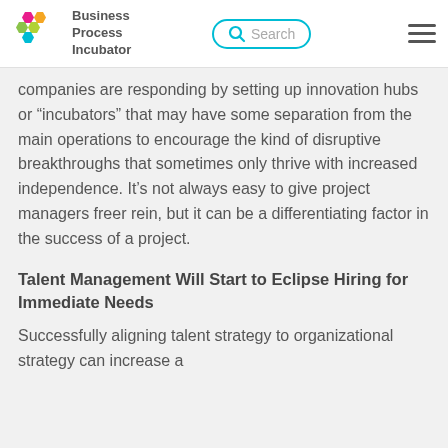Business Process Incubator
companies are responding by setting up innovation hubs or “incubators” that may have some separation from the main operations to encourage the kind of disruptive breakthroughs that sometimes only thrive with increased independence. It’s not always easy to give project managers freer rein, but it can be a differentiating factor in the success of a project.
Talent Management Will Start to Eclipse Hiring for Immediate Needs
Successfully aligning talent strategy to organizational strategy can increase a